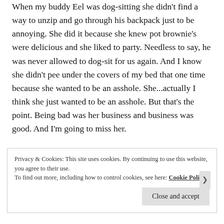When my buddy Eel was dog-sitting she didn't find a way to unzip and go through his backpack just to be annoying. She did it because she knew pot brownie's were delicious and she liked to party. Needless to say, he was never allowed to dog-sit for us again. And I know she didn't pee under the covers of my bed that one time because she wanted to be an asshole. She...actually I think she just wanted to be an asshole. But that's the point. Being bad was her business and business was good. And I'm going to miss her.
Privacy & Cookies: This site uses cookies. By continuing to use this website, you agree to their use. To find out more, including how to control cookies, see here: Cookie Policy
Close and accept